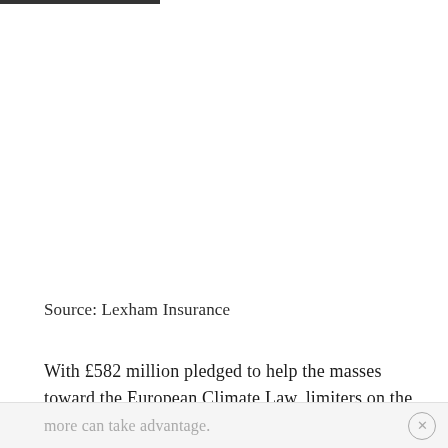Source: Lexham Insurance
With £582 million pledged to help the masses toward the European Climate Law, limiters on the millions mean more can take advantage.